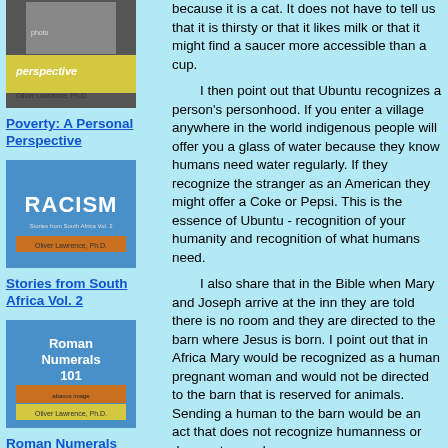[Figure (illustration): Book cover for 'Poverty: A Personal Perspective' by Oliver Lawrence, Ph.D.]
Poverty: A Personal Perspective
[Figure (illustration): Book cover for 'Stories from South Africa Vol. 2' (RACISM) by Oliver Lawrence, Ph.D.]
Stories from South Africa Vol. 2
[Figure (illustration): Book cover for 'Roman Numerals 101' by Oliver Lawrence, Ph.D.]
Roman Numerals
[Figure (illustration): Book cover for 'Roman Numerals I - MMM' by Oliver Lawrence, Ph.D.]
because it is a cat. It does not have to tell us that it is thirsty or that it likes milk or that it might find a saucer more accessible than a cup.
I then point out that Ubuntu recognizes a person's personhood. If you enter a village anywhere in the world indigenous people will offer you a glass of water because they know humans need water regularly. If they recognize the stranger as an American they might offer a Coke or Pepsi. This is the essence of Ubuntu - recognition of your humanity and recognition of what humans need.
I also share that in the Bible when Mary and Joseph arrive at the inn they are told there is no room and they are directed to the barn where Jesus is born. I point out that in Africa Mary would be recognized as a human pregnant woman and would not be directed to the barn that is reserved for animals. Sending a human to the barn would be an act that does not recognize humanness or does not regard